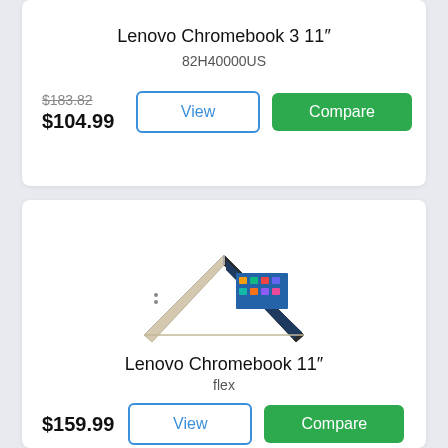Lenovo Chromebook 3 11"
82H40000US
$183.82  $104.99
[Figure (screenshot): View and Compare buttons for first product]
[Figure (photo): Lenovo Chromebook 11 flex laptop in tent mode, gold/beige color with dark screen showing app icons]
Lenovo Chromebook 11"
flex
$159.99
[Figure (screenshot): View and Compare buttons for second product (partially visible)]